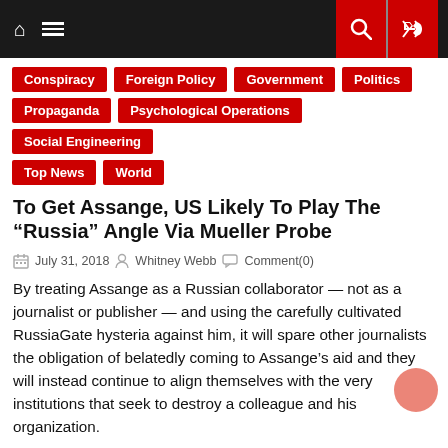Navigation bar with home, menu, search, and shuffle icons
Conspiracy
Foreign Policy
Government
Politics
Propaganda
Psychological Operations
Social Engineering
Top News
World
To Get Assange, US Likely To Play The “Russia” Angle Via Mueller Probe
July 31, 2018   Whitney Webb   Comment(0)
By treating Assange as a Russian collaborator — not as a journalist or publisher — and using the carefully cultivated RussiaGate hysteria against him, it will spare other journalists the obligation of belatedly coming to Assange’s aid and they will instead continue to align themselves with the very institutions that seek to destroy a colleague and his organization.
LONDON — New reports from a host of mainstream sources are asserting that the U.S. government — in its long-standing efforts to arrest and prosecute WikiLeaks editor Julian